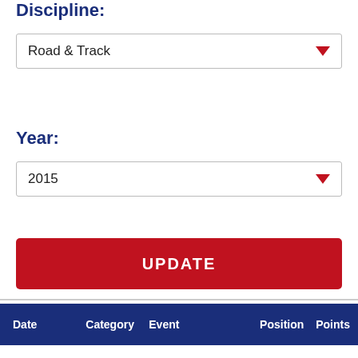Discipline:
Road & Track
Year:
2015
UPDATE
| Date | Category | Event | Position | Points |
| --- | --- | --- | --- | --- |
| 27/09/2015 | Regional A | The Great Orme Road Race 2015 (2/3/4 Men) | 2 | 12 |